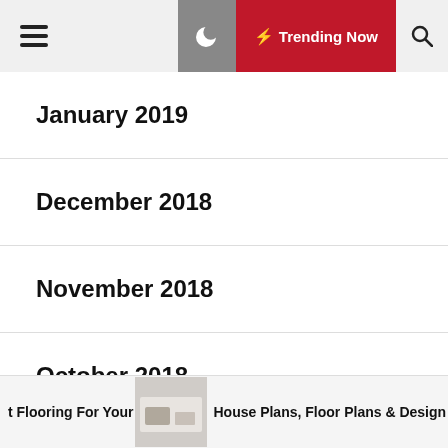Trending Now
January 2019
December 2018
November 2018
October 2018
September 2018
August 2018
July 2018
t Flooring For Your  House Plans, Floor Plans & Design